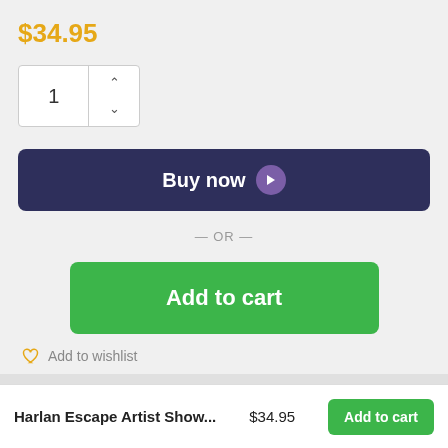$34.95
[Figure (screenshot): Quantity selector spinner with value 1 and up/down arrows]
[Figure (screenshot): Buy now button with dark navy background and purple arrow circle icon]
— OR —
[Figure (screenshot): Add to cart green button]
Add to wishlist
Harlan Escape Artist Show...
$34.95
[Figure (screenshot): Add to cart green button in bottom bar]